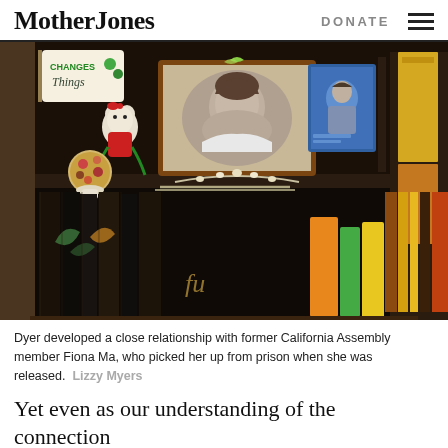Mother Jones | DONATE
[Figure (photo): A bookshelf with a framed black-and-white oval portrait photo, a Hello Kitty figurine, a floral decorative ball, a rhinestone tiara, a blue illustrated portrait card of a woman, books, binders, and various items on a dark wooden shelf.]
Dyer developed a close relationship with former California Assembly member Fiona Ma, who picked her up from prison when she was released.  Lizzy Myers
Yet even as our understanding of the connection